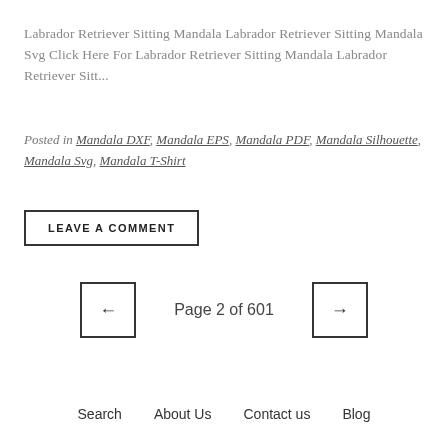Labrador Retriever Sitting Mandala Labrador Retriever Sitting Mandala Svg Click Here For Labrador Retriever Sitting Mandala Labrador Retriever Sitt...
Posted in Mandala DXF, Mandala EPS, Mandala PDF, Mandala Silhouette, Mandala Svg, Mandala T-Shirt
LEAVE A COMMENT
Page 2 of 601
Search   About Us   Contact us   Blog